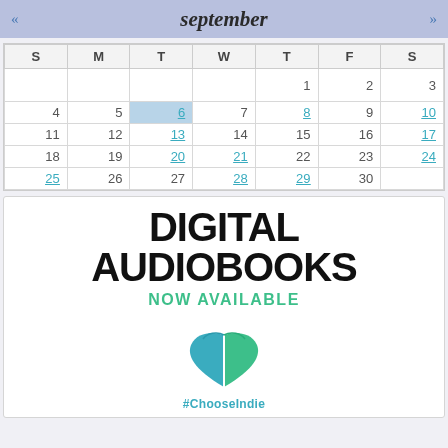september
| S | M | T | W | T | F | S |
| --- | --- | --- | --- | --- | --- | --- |
|  |  |  |  | 1 | 2 | 3 |
| 4 | 5 | 6 | 7 | 8 | 9 | 10 |
| 11 | 12 | 13 | 14 | 15 | 16 | 17 |
| 18 | 19 | 20 | 21 | 22 | 23 | 24 |
| 25 | 26 | 27 | 28 | 29 | 30 |  |
[Figure (illustration): Digital Audiobooks Now Available advertisement with ChooseIndie book-heart logo and #ChooseIndie hashtag text]